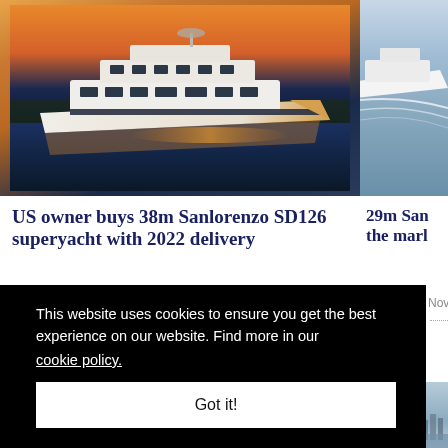[Figure (photo): Large luxury superyacht photographed at sunset/golden hour on calm water, warm orange and golden tones reflecting on the hull, dark treeline in background. Left image of two-column layout.]
[Figure (photo): Partial view of a white superyacht moving through water, creating a wake. Right side column, partially cropped.]
US owner buys 38m Sanlorenzo SD126 superyacht with 2022 delivery
29m San the mark
Novemb
This website uses cookies to ensure you get the best experience on our website. Find more in our
cookie policy.
Got it!
[Figure (photo): Bottom strip of partial images: people on a boat/beach, dark moody tones, and a partial city skyline with water in the rightmost column.]